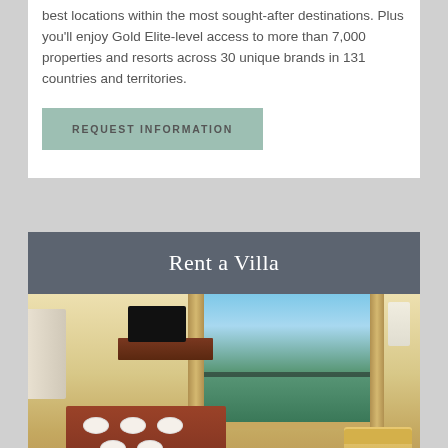best locations within the most sought-after destinations. Plus you'll enjoy Gold Elite-level access to more than 7,000 properties and resorts across 30 unique brands in 131 countries and territories.
REQUEST INFORMATION
Rent a Villa
[Figure (photo): Interior photo of a luxury villa suite showing a dining table set for four, a TV on a wooden media unit, large windows with ocean and sky view, a living area with sofa, and a bed visible on the left side.]